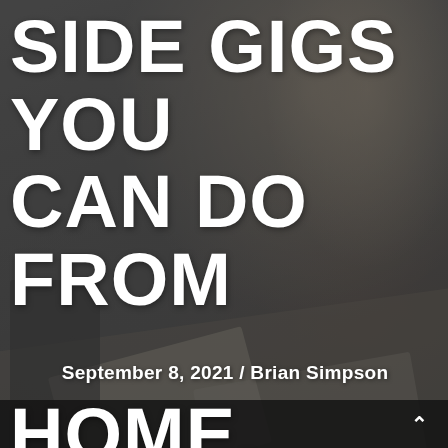[Figure (photo): Dark background photo of a woman with curly hair sitting at a desk covered with open books and papers, working. The image has a dim overlay giving a muted, dark aesthetic suitable for a blog post cover.]
SIDE GIGS YOU CAN DO FROM HOME.
September 8, 2021 / Brian Simpson